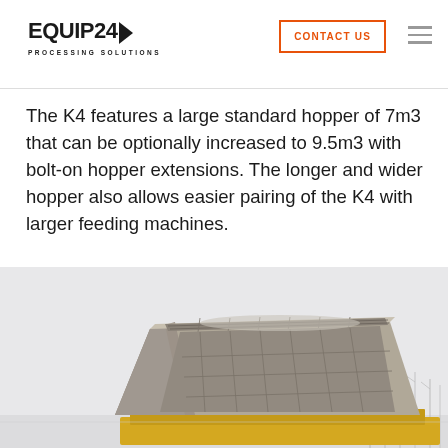EQUIP24 PROCESSING SOLUTIONS | CONTACT US
The K4 features a large standard hopper of 7m3 that can be optionally increased to 9.5m3 with bolt-on hopper extensions. The longer and wider hopper also allows easier pairing of the K4 with larger feeding machines.
[Figure (photo): Photograph of a large industrial hopper/shredder machine photographed outdoors in winter conditions, showing the open top loading hopper with ribbed/gridded interior structure, mounted on a yellow chassis, with bare trees visible in background against a pale grey sky.]